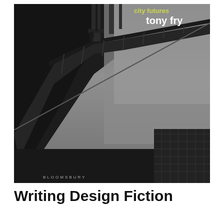[Figure (photo): Book cover of 'Writing Design Fiction' by Tony Fry published by Bloomsbury. Black and white photograph of a bridge walkway or industrial structure with diagonal railing receding into foggy distance. A figure is visible at the top. Author name 'tony fry' appears in white bold text at top right, with a partially visible yellow/green text above it. 'BLOOMSBURY' text appears in small caps at the bottom left of the cover image.]
Writing Design Fiction